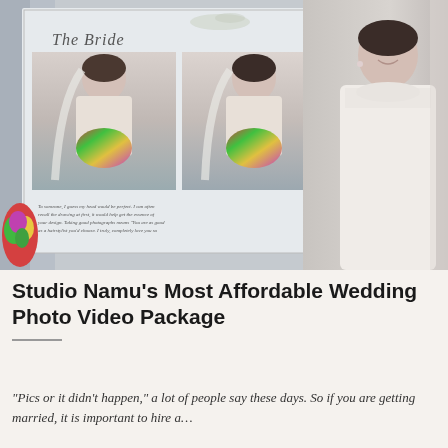[Figure (photo): Wedding photo collage showing a bride in white lace dress holding colorful bouquet, displayed as an album layout with three portrait photos plus a bride standing on right side with curtains on left. The album shows 'The Bride' as title in script font.]
Studio Namu’s Most Affordable Wedding Photo Video Package
“Pics or it didn’t happen,” a lot of people say these days. So if you are getting married, it is important to hire a…